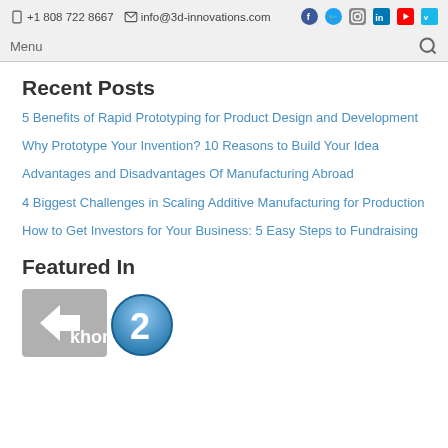+1 808 722 8667 | info@3d-innovations.com | [social icons: Facebook, Twitter, Instagram, LinkedIn, YouTube, Vimeo]
Menu [search icon]
Recent Posts
5 Benefits of Rapid Prototyping for Product Design and Development
Why Prototype Your Invention? 10 Reasons to Build Your Idea
Advantages and Disadvantages Of Manufacturing Abroad
4 Biggest Challenges in Scaling Additive Manufacturing for Production
How to Get Investors for Your Business: 5 Easy Steps to Fundraising
Featured In
[Figure (logo): Khon2 news logo — grey square with white arrow/chevron and 'khon' text, plus a blue metallic '2' badge]